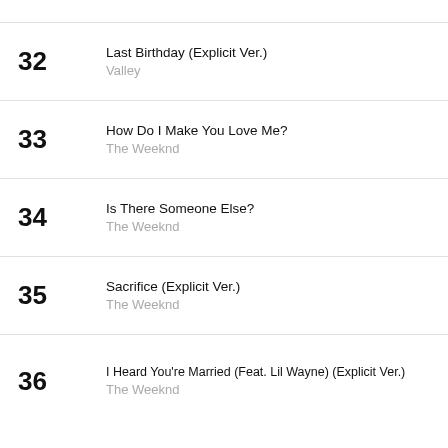32 Last Birthday (Explicit Ver.) — Valley
33 How Do I Make You Love Me? — The Weeknd
34 Is There Someone Else? — The Weeknd
35 Sacrifice (Explicit Ver.) — The Weeknd
36 I Heard You're Married (Feat. Lil Wayne) (Explicit Ver.) — The Weeknd